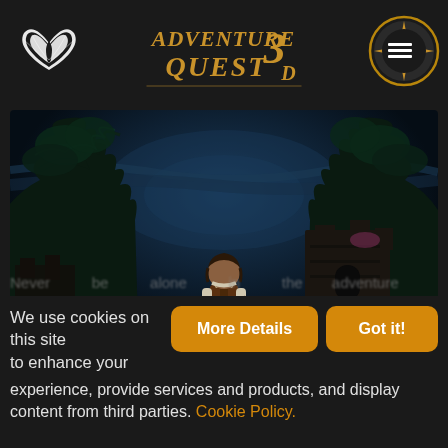Adventure Quest 3D
[Figure (screenshot): AdventureQuest 3D game screenshot showing a 3D character in a brown robe/coat standing on a yellow path, facing away from viewer, in a dark fantasy environment with blue-tinted trees, ruins, and a moody night sky. Navigation icons (bat/dragon logo top-left, menu icon top-right) and Adventure Quest 3D logo at top center.]
We use cookies on this site to enhance your experience, provide services and products, and display content from third parties. Cookie Policy.